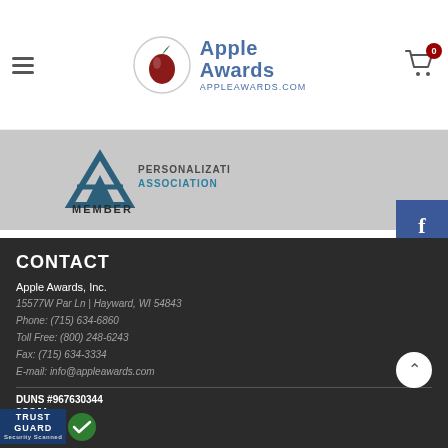[Figure (logo): Apple Awards logo with circular apple icon and brand name 'Apple Awards' with URL 'APPLEAWARDS.COM']
[Figure (logo): Personalization Association MEMBER logo/badge]
[Figure (infographic): Social media sidebar with Facebook, Twitter, and Pinterest icons]
CONTACT
Apple Awards, Inc.
15577W Par Ln | Hayward, WI 54843
Phone: (715) 634-6860
Toll Free: (800) 248-6243
Fax: (715) 634-3334
E-mail: info@appleawards.com
DUNS #967630344
3QSJ4
[Figure (logo): Trust Guard Security Scanned badge]